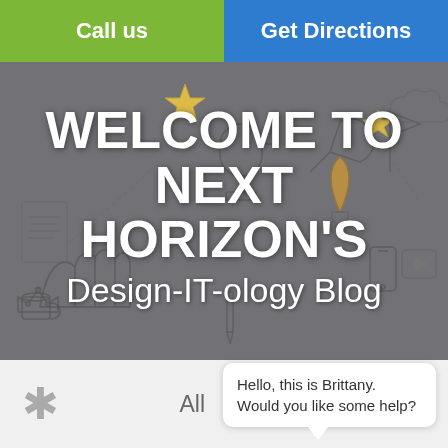Call us | Get Directions
[Figure (illustration): Hero banner with doodle-style illustrations on a gray textured background including trophies, crowns, stars, light bulb, hands, phone, headphones, and other icons]
WELCOME TO NEXT HORIZON'S
Design-IT-ology Blog
* All
Hello, this is Brittany. Would you like some help?
IT Solutions